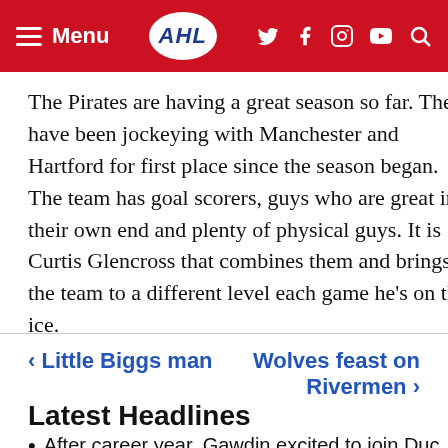Menu | AHL | (social icons)
The Pirates are having a great season so far. They have been jockeying with Manchester and Hartford for first place since the season began. The team has goal scorers, guys who are great in their own end and plenty of physical guys. It is Curtis Glencross that combines them and brings the team to a different level each game he’s on the ice.
< Little Biggs man
Wolves feast on Rivermen >
Latest Headlines
After career year, Gawdin excited to join Duc…